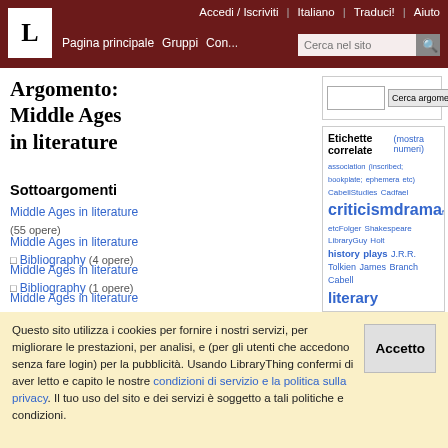Accedi / Iscriviti | Italiano | Traduci! | Aiuto | Pagina principale | Gruppi | Con... | Cerca nel sito
Argomento: Middle Ages in literature
Sottoargomenti
Middle Ages in literature (55 opere)
Middle Ages in literature > Bibliography (4 opere)
Middle Ages in literature > Bibliography (1 opere)
Middle Ages in literature
[Figure (infographic): Tag cloud with related tags: association (inscribed; bookplate; ephemera etc), CabellStudies, Cadfael, criticismdrama (large), fantasy etc, Folger Shakespeare Library, Guy Holt, history plays (bold), J.R.R. Tolkien, James Branch Cabell, literary criticism (large), Lord of the Rings, Middle Earth, play plays (large), Richard II, shakespeare editions, Shakespeare plays, shakespeare: richard ii, theatre (large), Tolkien (extra large), Tolkien studies, William Morris, William Shakespeare (extra large)]
Questo sito utilizza i cookies per fornire i nostri servizi, per migliorare le prestazioni, per analisi, e (per gli utenti che accedono senza fare login) per la pubblicità. Usando LibraryThing confermi di aver letto e capito le nostre condizioni di servizio e la politica sulla privacy. Il tuo uso del sito e dei servizi è soggetto a tali politiche e condizioni.